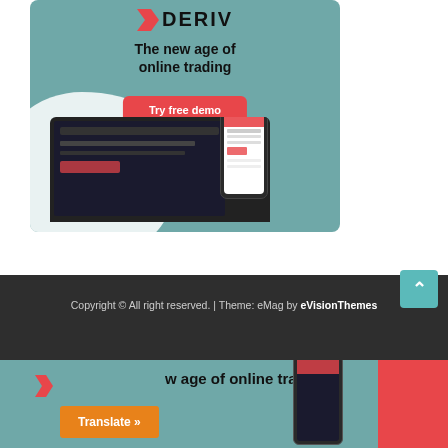[Figure (screenshot): Deriv online trading platform advertisement banner showing logo, headline 'The new age of online trading', 'Try free demo' button, and device mockups (laptop and phone) on teal background]
Copyright © All right reserved. | Theme: eMag by eVisionThemes
[Figure (screenshot): Bottom strip showing partial Deriv ad repeated with 'w age of online trading' text, orange 'Translate »' button, phone mockup, and red accent strip on right side]